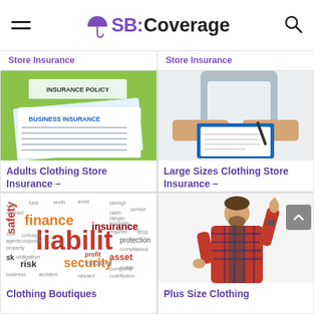SB:Coverage
Store Insurance  Store Insurance
[Figure (photo): Insurance policy documents with a green binder labeled 'Insurance Policy' and a form titled 'Business Insurance']
Adults Clothing Store Insurance –
[Figure (photo): Person signing documents at a desk, holding a pen over papers on a clipboard]
Large Sizes Clothing Store Insurance –
[Figure (photo): Word cloud with insurance-related terms: liability, finance, insurance, security, asset, safety, protection, risk, etc.]
Clothing Boutiques
[Figure (photo): Young bearded man in plaid shirt pointing upward with one finger, smiling]
Plus Size Clothing